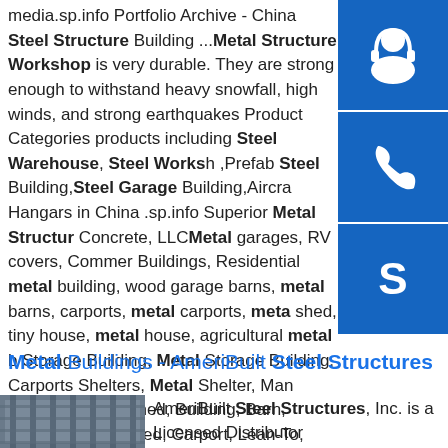media.sp.info Portfolio Archive - China Steel Structure Building ...Metal Structure Workshop is very durable. They are strong enough to withstand heavy snowfall, high winds, and strong earthquakes Product Categories products including Steel Warehouse, Steel Workshop ,Prefab Steel Building,Steel Garage Building,Aircraft Hangars in China .sp.info Superior Metal Structure Concrete, LLCMetal garages, RV covers, Commercial Buildings, Residential metal building, wood garages, barns, metal barns, carports, metal carports, metal shed, tiny house, metal house, agricultural metal b... Storage Building, Metal Storage Building, Carports Shelters, Metal Shelter, Man Cave, Storage, Shed, Building, Barn, Garage, Utility Shed, Carport, Lean-To, Wood Frame, Office ...
[Figure (illustration): Blue square icon with white headset/customer service symbol]
[Figure (illustration): Blue square icon with white telephone symbol]
[Figure (illustration): Blue square icon with white Skype logo symbol]
Metal Buildings - AmeriBuilt Steel Structures
[Figure (photo): Photo of steel structure building under construction]
AmeriBuilt Steel Structures, Inc. is a Licensed Distributor